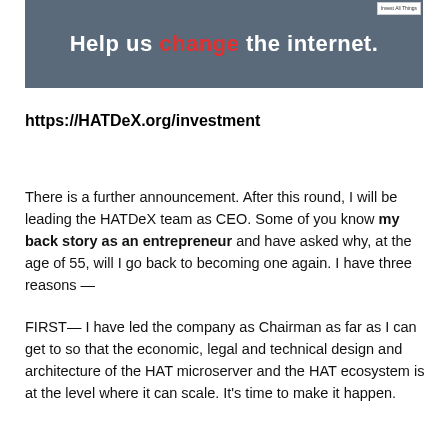[Figure (photo): Banner image with dark blue-grey overlay showing people, with text 'Help us change the internet.' where 'change' is in red and rest is white bold text. Small badge/logo in top right corner.]
https://HATDeX.org/investment
There is a further announcement. After this round, I will be leading the HATDeX team as CEO. Some of you know my back story as an entrepreneur and have asked why, at the age of 55, will I go back to becoming one again. I have three reasons —
FIRST— I have led the company as Chairman as far as I can get to so that the economic, legal and technical design and architecture of the HAT microserver and the HAT ecosystem is at the level where it can scale. It's time to make it happen.